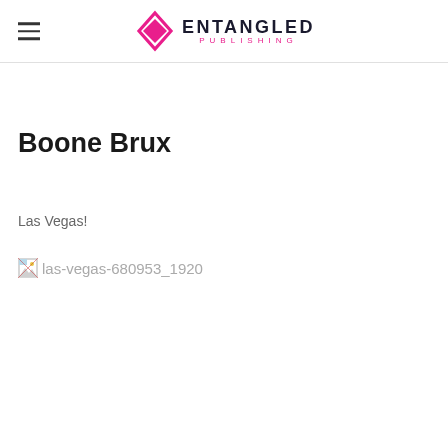ENTANGLED PUBLISHING
Boone Brux
Las Vegas!
[Figure (photo): Broken image placeholder with alt text: las-vegas-680953_1920]